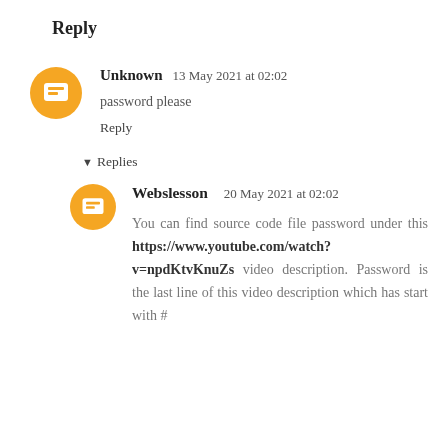Reply
Unknown  13 May 2021 at 02:02
password please
Reply
▾ Replies
Webslesson  20 May 2021 at 02:02
You can find source code file password under this https://www.youtube.com/watch?v=npdKtvKnuZs video description. Password is the last line of this video description which has start with #